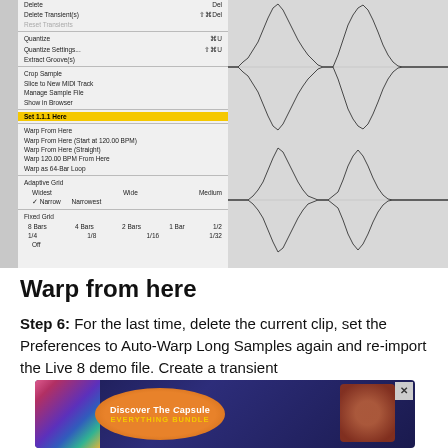[Figure (screenshot): Ableton Live context menu showing audio warp options including Delete, Delete Transients, Reset Transients, Quantize, Quantize Settings, Extract Groove(s), Crop Sample, Slice to New MIDI Track, Manage Sample File, Show in Browser, Set 1.1.1 Here (highlighted in yellow), Warp From Here, Warp From Here (Start at 120.00 BPM), Warp From Here (Straight), Warp 120.00 BPM From Here, Warp as 64-Bar Loop, Adaptive Grid options (Widest, Wide, Medium, Narrow checked, Narrowest), Fixed Grid options (8 Bars, 4 Bars, 2 Bars, 1 Bar, 1/2, 1/4, 1/8, 1/16, 1/32, Off), with audio waveform visible on the right side]
Warp from here
Step 6: For the last time, delete the current clip, set the Preferences to Auto-Warp Long Samples again and re-import the Live 8 demo file. Create a transient
[Figure (advertisement): Advertisement banner: Discover The Capsule - EVERYTHING BUNDLE with colorful instrument imagery]